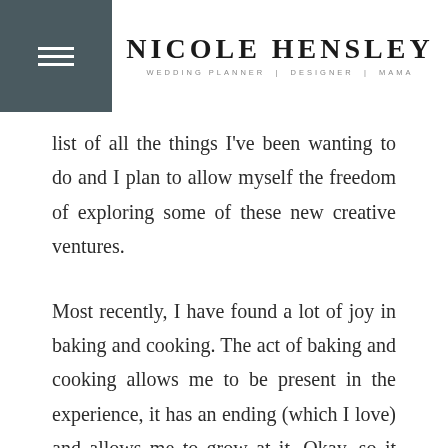NICOLE HENSLEY — WEDDING PLANNER | DESIGNER | MAMA
list of all the things I've been wanting to do and I plan to allow myself the freedom of exploring some of these new creative ventures.
Most recently, I have found a lot of joy in baking and cooking. The act of baking and cooking allows me to be present in the experience, it has an ending (which I love) and allows me to grow at it. Okay, so it sounds contradicting to being a non-productive experience, but to be honest